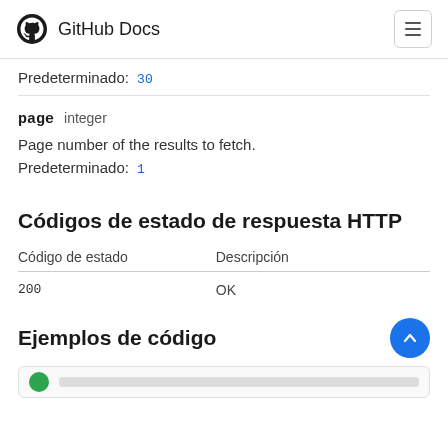GitHub Docs
Predeterminado:  30
page  integer
Page number of the results to fetch.
Predeterminado:  1
Códigos de estado de respuesta HTTP
| Código de estado | Descripción |
| --- | --- |
| 200 | OK |
Ejemplos de código